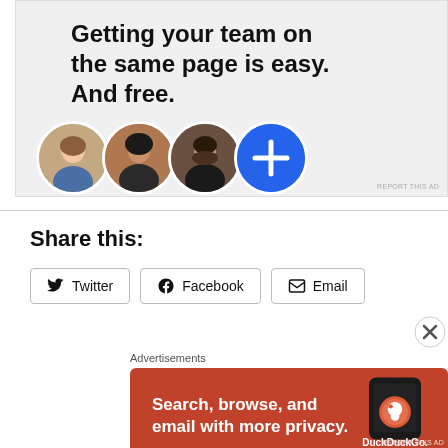[Figure (illustration): Advertisement banner with bold headline 'Getting your team on the same page is easy. And free.' on light gray background, with three circular profile photo avatars and a blue circle with a plus sign]
REPORT THIS AD
Share this:
Twitter   Facebook   Email
Advertisements
[Figure (illustration): DuckDuckGo advertisement on orange/red background showing 'Search, browse, and email with more privacy. All in One Free App' with DuckDuckGo logo and phone mockup]